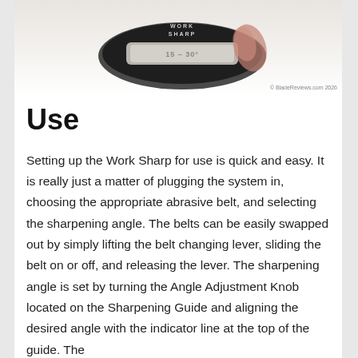[Figure (photo): Close-up photo of a Work Sharp knife sharpening device showing the sharpening guide with '15-30' angle markings visible on the device.]
© BladeReviews.com 2026
Use
Setting up the Work Sharp for use is quick and easy. It is really just a matter of plugging the system in, choosing the appropriate abrasive belt, and selecting the sharpening angle. The belts can be easily swapped out by simply lifting the belt changing lever, sliding the belt on or off, and releasing the lever. The sharpening angle is set by turning the Angle Adjustment Knob located on the Sharpening Guide and aligning the desired angle with the indicator line at the top of the guide. The